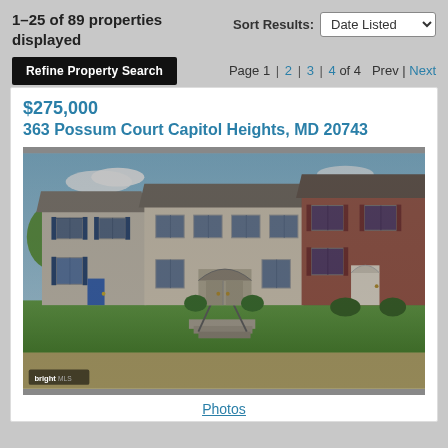1–25 of 89 properties displayed
Sort Results: Date Listed
Refine Property Search
Page 1 | 2 | 3 | 4 of 4  Prev | Next
$275,000
363 Possum Court Capitol Heights, MD 20743
[Figure (photo): Exterior photo of townhouse row at 363 Possum Court, Capitol Heights, MD. Shows multiple two-story brick and siding townhomes with green lawns, blue shutters, front steps, and a sunny sky.]
Photos